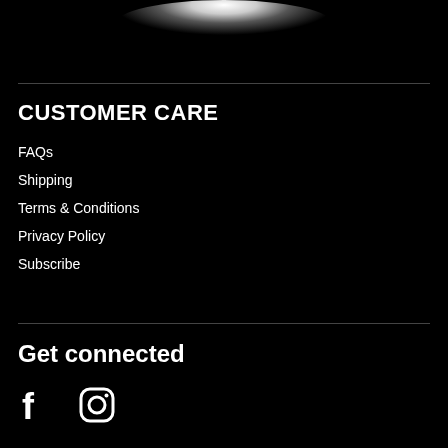[Figure (illustration): Partial white glowing circular/oval shape on black background at top of page]
CUSTOMER CARE
FAQs
Shipping
Terms & Conditions
Privacy Policy
Subscribe
Get connected
[Figure (illustration): Facebook and Instagram social media icons in white on black background]